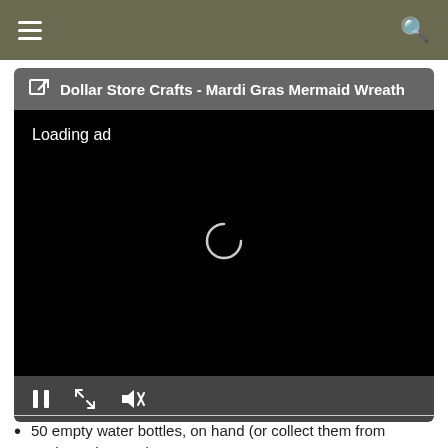Dollar Store Crafts - Mardi Gras Mermaid Wreath
[Figure (screenshot): Video player showing a black screen with 'Loading ad' text and a spinner. Controls bar at bottom shows pause, expand, and mute buttons.]
50 empty water bottles, on hand (or collect them from work or wherever)
Paint, on hand (spraypaint?)
A wire hanging plant basket, $1
A pendant lamp kit, $10
Glue, tape, wire, etc., on hand